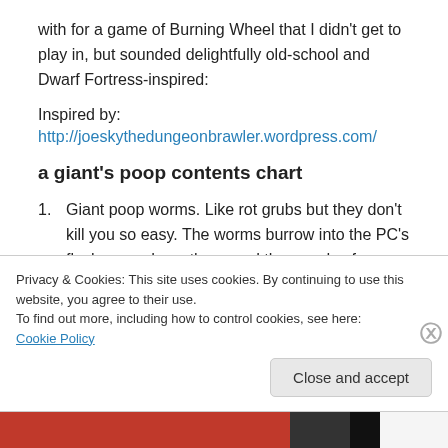with for a game of Burning Wheel that I didn't get to play in, but sounded delightfully old-school and Dwarf Fortress-inspired:
Inspired by:
http://joeskythedungeonbrawler.wordpress.com/
a giant's poop contents chart
Giant poop worms.  Like rot grubs but they don't kill you so easy. The worms burrow into the PC's flesh, reproduce, then send thousands of progeny out each
Privacy & Cookies: This site uses cookies. By continuing to use this website, you agree to their use.
To find out more, including how to control cookies, see here: Cookie Policy